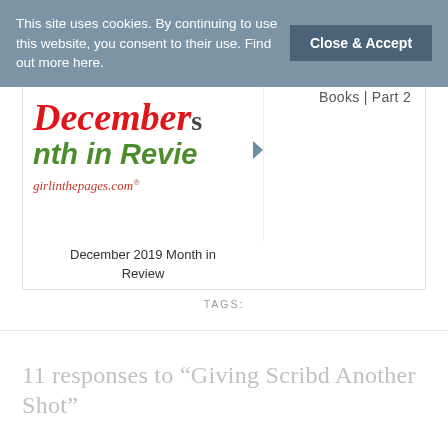This site uses cookies. By continuing to use this website, you consent to their use. Find out more here.
Close & Accept
Books | Part 2
[Figure (illustration): December Month in Review blog post thumbnail with red cursive 'December' text, green bold italic 'Month in Revie' text, and girlinthepages.com URL in red italic]
December 2019 Month in Review
TAGS:
11 responses to “Giving Scribd Another Shot”